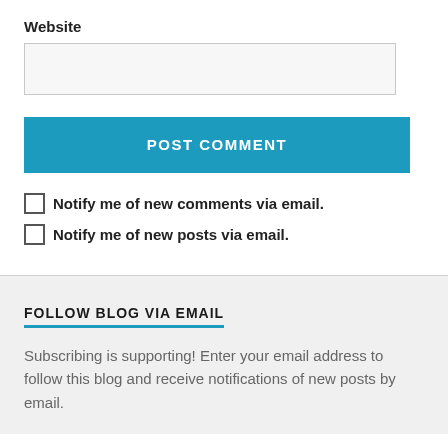Website
[Figure (screenshot): Empty text input box for website URL]
POST COMMENT
Notify me of new comments via email.
Notify me of new posts via email.
FOLLOW BLOG VIA EMAIL
Subscribing is supporting! Enter your email address to follow this blog and receive notifications of new posts by email.